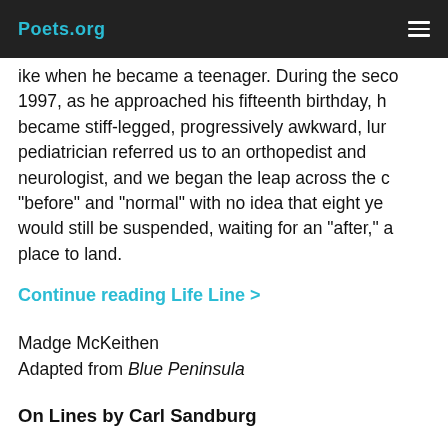Poets.org
ike when he became a teenager. During the seco 1997, as he approached his fifteenth birthday, h became stiff-legged, progressively awkward, lur pediatrician referred us to an orthopedist and neurologist, and we began the leap across the c “before” and “normal” with no idea that eight ye would still be suspended, waiting for an “after,” a place to land.
Continue reading Life Line >
Madge McKeithen
Adapted from Blue Peninsula
On Lines by Carl Sandburg